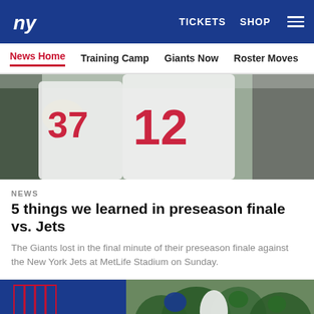NY Giants — TICKETS  SHOP  ≡
News Home  Training Camp  Giants Now  Roster Moves  Fact o
[Figure (photo): Close-up of NY Giants players in white uniforms with red numbers 37 and 12 during preseason game]
NEWS
5 things we learned in preseason finale vs. Jets
The Giants lost in the final minute of their preseason finale against the New York Jets at MetLife Stadium on Sunday.
[Figure (photo): NY Giants vs Jets game photo showing players huddled, with FINAL scoreboard on left side]
Social sharing icons: Facebook, Twitter, Email, Link